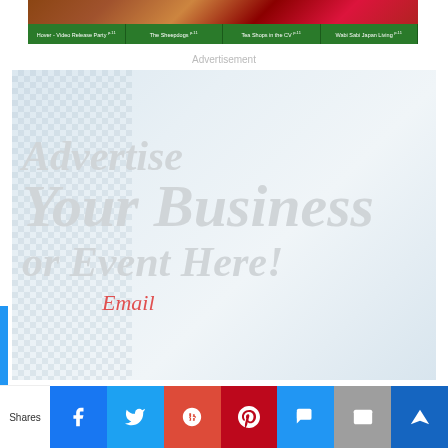[Figure (photo): Top banner strip with photo background and green navigation tabs reading: Hover - Video Release Party, The Sheepdogs, Tea Shops in the CV, Wabi Sabi Japan Living]
Advertisement
[Figure (infographic): Advertisement placeholder box with light blue gradient background and large light gray italic serif text reading: Advertise Your Business or Event Here! with Email text below in red/pink]
Shares